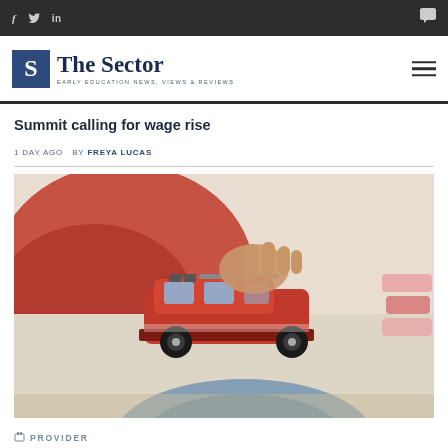f  tw  in  [chat icon]
[Figure (logo): The Sector logo — blue S box with 'The Sector' text and 'EARLY EDUCATION NEWS, VIEWS & REVIEWS' tagline]
Summit calling for wage rise
1 DAY AGO  BY FREYA LUCAS
[Figure (photo): Close-up photo of a child's hand playing with a red toy truck/car on a carpet, with a blue circular rug element visible at the bottom]
PROVIDER